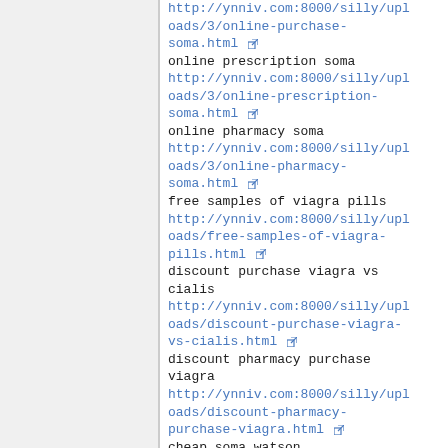online purchase soma
http://ynniv.com:8000/silly/uploads/3/online-purchase-soma.html
online prescription soma
http://ynniv.com:8000/silly/uploads/3/online-prescription-soma.html
online pharmacy soma
http://ynniv.com:8000/silly/uploads/3/online-pharmacy-soma.html
free samples of viagra pills
http://ynniv.com:8000/silly/uploads/free-samples-of-viagra-pills.html
discount purchase viagra vs cialis
http://ynniv.com:8000/silly/uploads/discount-purchase-viagra-vs-cialis.html
discount pharmacy purchase viagra
http://ynniv.com:8000/silly/uploads/discount-pharmacy-purchase-viagra.html
cheap soma watson
http://ynniv.com:8000/silly/uploads/cheap-soma-watson.html
get viagra drug online
http://ynniv.com:8000/silly/uploads/get-viagra-drug-online.html